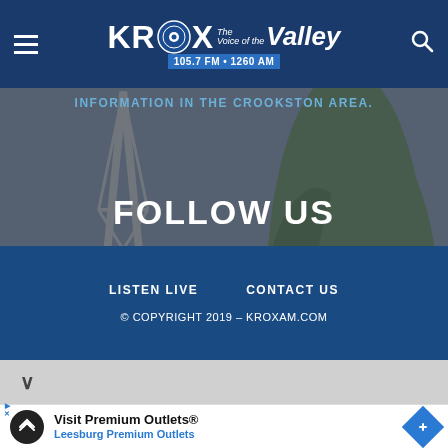[Figure (logo): KROX radio station logo: 105.7 FM • 1260 AM, The Voice of the Valley]
INFORMATION IN THE CROOKSTON AREA.
FOLLOW US
[Figure (illustration): Social media icons: Facebook, Twitter, YouTube in bordered boxes]
LISTEN LIVE   CONTACT US
© COPYRIGHT 2019 – KROXAM.COM
Visit Premium Outlets®
Leesburg Premium Outlets